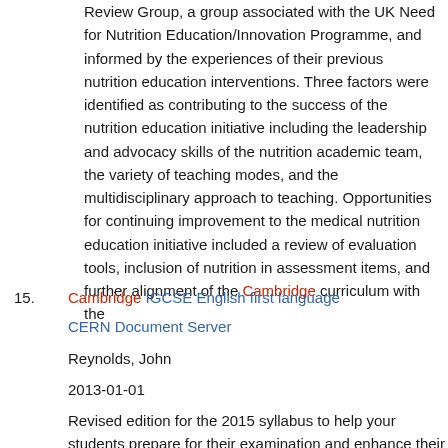Review Group, a group associated with the UK Need for Nutrition Education/Innovation Programme, and informed by the experiences of their previous nutrition education interventions. Three factors were identified as contributing to the success of the nutrition education initiative including the leadership and advocacy skills of the nutrition academic team, the variety of teaching modes, and the multidisciplinary approach to teaching. Opportunities for continuing improvement to the medical nutrition education initiative included a review of evaluation tools, inclusion of nutrition in assessment items, and further alignment of the Cambridge curriculum with the
15. Cambridge IGCSE English first language

CERN Document Server

Reynolds, John

2013-01-01

Revised edition for the 2015 syllabus to help your students prepare for their examination and enhance their enjoyment of English. This title has been written for the revised Cambridge IGCSE First Language English (0500 and 0522) syllabuses, for